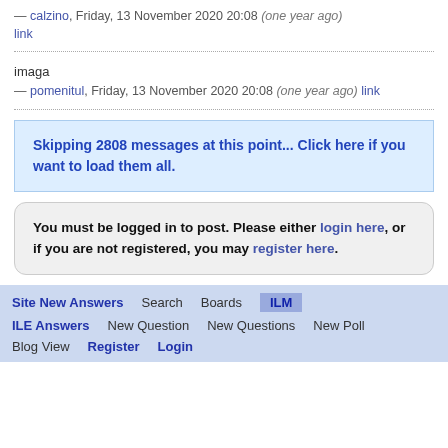— calzino, Friday, 13 November 2020 20:08 (one year ago) link
imaga
— pomenitul, Friday, 13 November 2020 20:08 (one year ago) link
Skipping 2808 messages at this point... Click here if you want to load them all.
You must be logged in to post. Please either login here, or if you are not registered, you may register here.
Site New Answers   Search   Boards   ILM   ILE Answers   New Question   New Questions   New Poll   Blog View   Register   Login